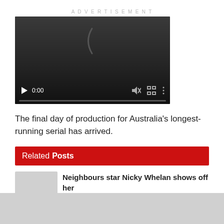ADVERTISEMENT
[Figure (screenshot): Embedded video player with dark background, play button, timestamp 0:00, mute icon, fullscreen icon, and options menu. Progress bar at bottom.]
The final day of production for Australia's longest-running serial has arrived.
Related Posts
Neighbours star Nicky Whelan shows off her